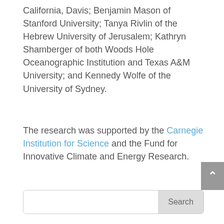California, Davis; Benjamin Mason of Stanford University; Tanya Rivlin of the Hebrew University of Jerusalem; Kathryn Shamberger of both Woods Hole Oceanographic Institution and Texas A&M University; and Kennedy Wolfe of the University of Sydney.
The research was supported by the Carnegie Institution for Science and the Fund for Innovative Climate and Energy Research.